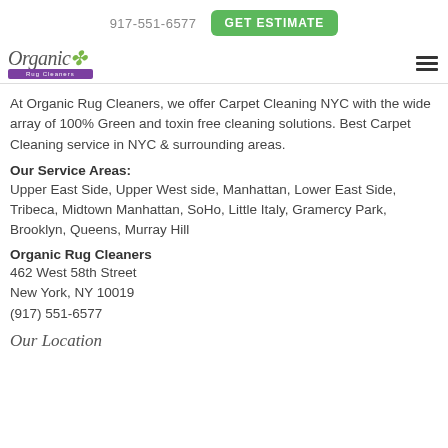917-551-6577   GET ESTIMATE
[Figure (logo): Organic Rug Cleaners logo with italic script text and purple ribbon banner]
At Organic Rug Cleaners, we offer Carpet Cleaning NYC with the wide array of 100% Green and toxin free cleaning solutions. Best Carpet Cleaning service in NYC & surrounding areas.
Our Service Areas:
Upper East Side, Upper West side, Manhattan, Lower East Side, Tribeca, Midtown Manhattan, SoHo, Little Italy, Gramercy Park, Brooklyn, Queens, Murray Hill
Organic Rug Cleaners
462 West 58th Street
New York, NY 10019
(917) 551-6577
Our Location